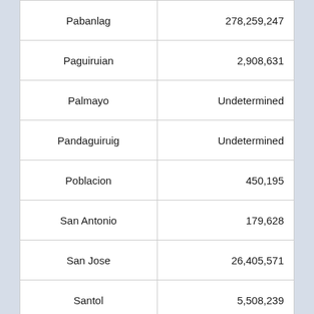| Pabanlag | 278,259,247 |
| Paguiruian | 2,908,631 |
| Palmayo | Undetermined |
| Pandaguiruig | Undetermined |
| Poblacion | 450,195 |
| San Antonio | 179,628 |
| San Jose | 26,405,571 |
| Santol | 5,508,239 |